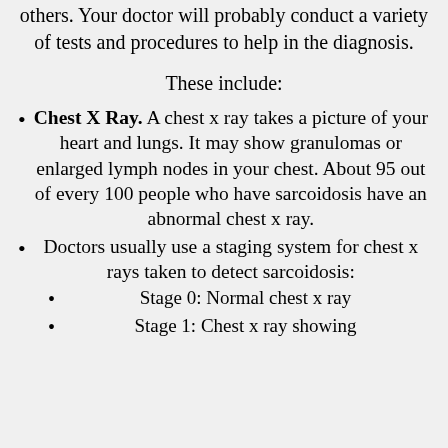others. Your doctor will probably conduct a variety of tests and procedures to help in the diagnosis.
These include:
Chest X Ray. A chest x ray takes a picture of your heart and lungs. It may show granulomas or enlarged lymph nodes in your chest. About 95 out of every 100 people who have sarcoidosis have an abnormal chest x ray.
Doctors usually use a staging system for chest x rays taken to detect sarcoidosis:
Stage 0: Normal chest x ray
Stage 1: Chest x ray showing